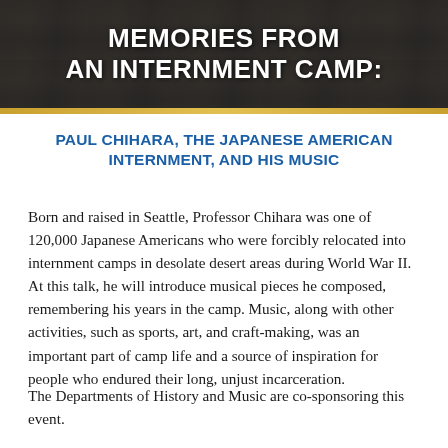[Figure (photo): Black and white historical photograph of people at a Japanese American internment camp, used as a dark banner background with text overlay reading 'MEMORIES FROM AN INTERNMENT CAMP:']
PAUL CHIHARA, THE JAPANESE AMERICAN INTERNMENT, AND HIS MUSIC
Born and raised in Seattle, Professor Chihara was one of 120,000 Japanese Americans who were forcibly relocated into internment camps in desolate desert areas during World War II. At this talk, he will introduce musical pieces he composed, remembering his years in the camp. Music, along with other activities, such as sports, art, and craft-making, was an important part of camp life and a source of inspiration for people who endured their long, unjust incarceration.
The Departments of History and Music are co-sponsoring this event.